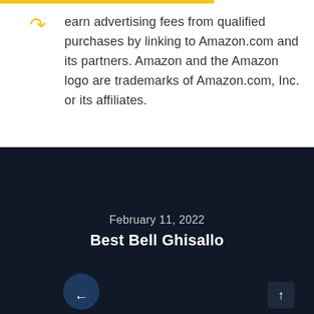earn advertising fees from qualified purchases by linking to Amazon.com and its partners. Amazon and the Amazon logo are trademarks of Amazon.com, Inc. or its affiliates.
February 11, 2022
Best Bell Ghisallo